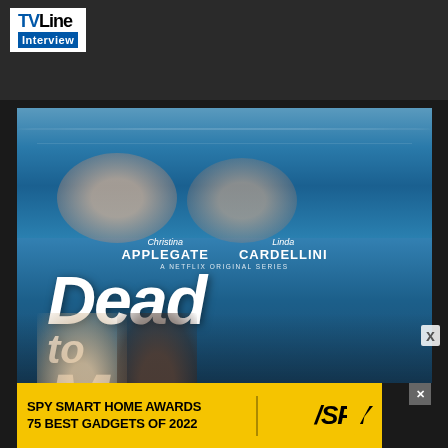[Figure (screenshot): TVLine Interview banner at top with dark background showing a person]
[Figure (photo): Dead to Me Netflix original series promotional poster showing Christina Applegate and Linda Cardellini reflected in water, with show title in large italic font, and two actors at the bottom]
[Figure (photo): SPY Smart Home Awards advertisement banner: '75 BEST GADGETS OF 2022' on yellow background with SPY logo]